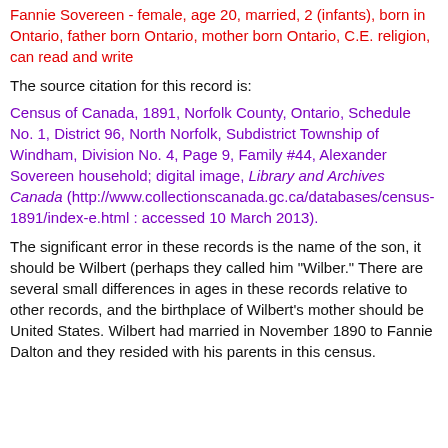Fannie Sovereen - female, age 20, married, 2 (infants), born in Ontario, father born Ontario, mother born Ontario, C.E. religion, can read and write
The source citation for this record is:
Census of Canada, 1891, Norfolk County, Ontario, Schedule No. 1, District 96, North Norfolk, Subdistrict Township of Windham, Division No. 4, Page 9, Family #44, Alexander Sovereen household; digital image, Library and Archives Canada (http://www.collectionscanada.gc.ca/databases/census-1891/index-e.html : accessed 10 March 2013).
The significant error in these records is the name of the son, it should be Wilbert (perhaps they called him "Wilber."  There are several small differences in ages in these records relative to other records, and the birthplace of Wilbert's mother should be United States.  Wilbert had married in November 1890 to Fannie Dalton and they resided with his parents in this census.